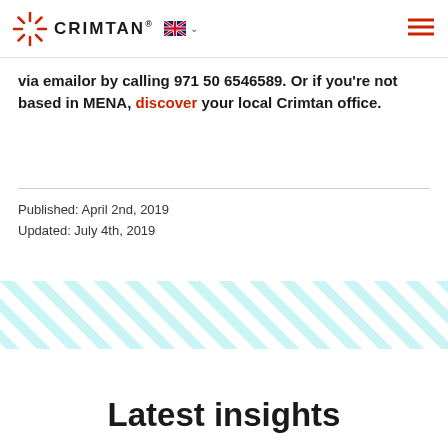CRIMTAN®
via emailor by calling 971 50 6546589. Or if you're not based in MENA, discover your local Crimtan office.
Published: April 2nd, 2019
Updated: July 4th, 2019
[Figure (illustration): Diagonal teal/cyan stripe pattern banner]
Latest insights